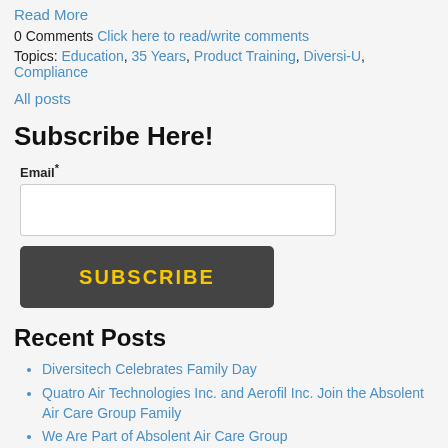Read More
0 Comments Click here to read/write comments
Topics: Education, 35 Years, Product Training, Diversi-U, Compliance
All posts
Subscribe Here!
Email*
SUBSCRIBE
Recent Posts
Diversitech Celebrates Family Day
Quatro Air Technologies Inc. and Aerofil Inc. Join the Absolent Air Care Group Family
We Are Part of Absolent Air Care Group